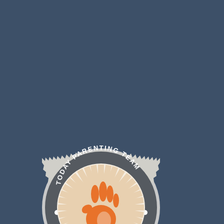[Figure (logo): Today Parenting Team Contributor badge. A circular seal with a serrated/scalloped edge in light gray. Inner dark gray circle with text 'TODAY PARENTING TEAM' around the top arc. Center features a cream/light background with sunburst rays and an orange hand/child hand logo. A teal ribbon banner across the bottom of the badge reads 'CONTRIBUTOR' in white bold capital letters.]